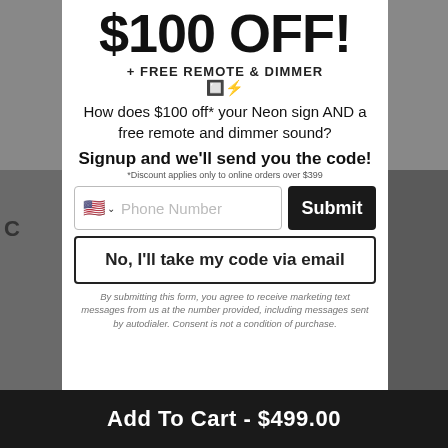$100 OFF!
+ FREE REMOTE & DIMMER
🔲⚡
How does $100 off* your Neon sign AND a free remote and dimmer sound?
Signup and we'll send you the code!
*Discount applies only to online orders over $399
Phone Number
Submit
No, I'll take my code via email
By submitting this form, you agree to receive marketing text messages from us at the number provided, including messages sent by autodialer. Consent is not a condition of purchase.
Add To Cart - $499.00